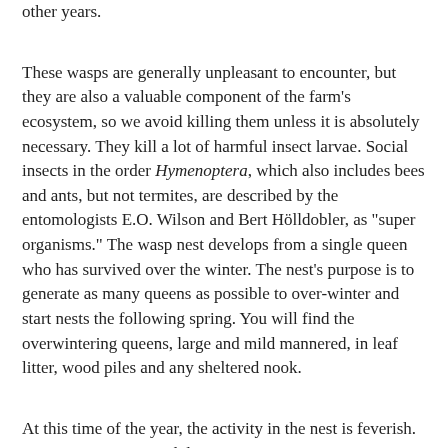other years.
These wasps are generally unpleasant to encounter, but they are also a valuable component of the farm's ecosystem, so we avoid killing them unless it is absolutely necessary. They kill a lot of harmful insect larvae. Social insects in the order Hymenoptera, which also includes bees and ants, but not termites, are described by the entomologists E.O. Wilson and Bert Hölldobler, as "super organisms." The wasp nest develops from a single queen who has survived over the winter. The nest's purpose is to generate as many queens as possible to over-winter and start nests the following spring. You will find the overwintering queens, large and mild mannered, in leaf litter, wood piles and any sheltered nook.
At this time of the year, the activity in the nest is feverish. Wasps are arriving and departing in a constant stream. They are bringing in fragments of fruit, aphids, caterpillars and carrion. They will even attack weak bee hives and have a yen for all manner fruit, especially grapes. For us they are a very minor irritation. The bald face hornets have more powerful mandibles, and seem to do more damage. Unless